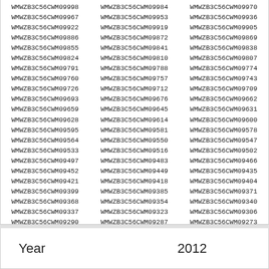| Col1 | Col2 | Col3 |
| --- | --- | --- |
| WMWZB3C56CWM09998 | WMWZB3C56CWM09984 | WMWZB3C56CWM09970 |
| WMWZB3C56CWM09967 | WMWZB3C56CWM09953 | WMWZB3C56CWM09936 |
| WMWZB3C56CWM09922 | WMWZB3C56CWM09919 | WMWZB3C56CWM09905 |
| WMWZB3C56CWM09886 | WMWZB3C56CWM09872 | WMWZB3C56CWM09869 |
| WMWZB3C56CWM09855 | WMWZB3C56CWM09841 | WMWZB3C56CWM09838 |
| WMWZB3C56CWM09824 | WMWZB3C56CWM09810 | WMWZB3C56CWM09807 |
| WMWZB3C56CWM09791 | WMWZB3C56CWM09788 | WMWZB3C56CWM09774 |
| WMWZB3C56CWM09760 | WMWZB3C56CWM09757 | WMWZB3C56CWM09743 |
| WMWZB3C56CWM09726 | WMWZB3C56CWM09712 | WMWZB3C56CWM09709 |
| WMWZB3C56CWM09693 | WMWZB3C56CWM09676 | WMWZB3C56CWM09662 |
| WMWZB3C56CWM09659 | WMWZB3C56CWM09645 | WMWZB3C56CWM09631 |
| WMWZB3C56CWM09628 | WMWZB3C56CWM09614 | WMWZB3C56CWM09600 |
| WMWZB3C56CWM09595 | WMWZB3C56CWM09581 | WMWZB3C56CWM09578 |
| WMWZB3C56CWM09564 | WMWZB3C56CWM09550 | WMWZB3C56CWM09547 |
| WMWZB3C56CWM09533 | WMWZB3C56CWM09516 | WMWZB3C56CWM09502 |
| WMWZB3C56CWM09497 | WMWZB3C56CWM09483 | WMWZB3C56CWM09466 |
| WMWZB3C56CWM09452 | WMWZB3C56CWM09449 | WMWZB3C56CWM09435 |
| WMWZB3C56CWM09421 | WMWZB3C56CWM09418 | WMWZB3C56CWM09404 |
| WMWZB3C56CWM09399 | WMWZB3C56CWM09385 | WMWZB3C56CWM09371 |
| WMWZB3C56CWM09368 | WMWZB3C56CWM09354 | WMWZB3C56CWM09340 |
| WMWZB3C56CWM09337 | WMWZB3C56CWM09323 | WMWZB3C56CWM09306 |
| WMWZB3C56CWM09290 | WMWZB3C56CWM09287 | WMWZB3C56CWM09273 |
| WMWZB3C56CWM09256 | WMWZB3C56CWM09242 | WMWZB3C56CWM09239 |
| WMWZB3C56CWM09225 | WMWZB3C56CWM09211 | WMWZB3C56CWM09208 |
Year    2012